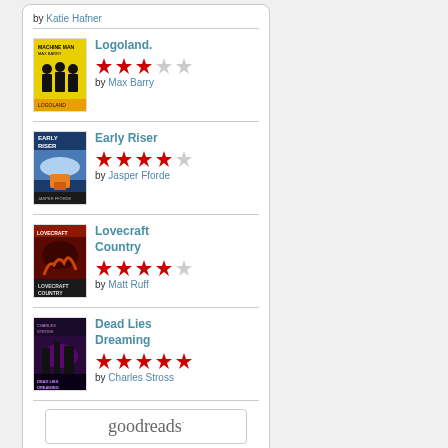by Katie Hafner
Logoland. by Max Barry — 3 out of 5 stars
Early Riser by Jasper Fforde — 4 out of 5 stars
Lovecraft Country by Matt Ruff — 4 out of 5 stars
Dead Lies Dreaming by Charles Stross — 5 out of 5 stars
[Figure (logo): goodreads logo button]